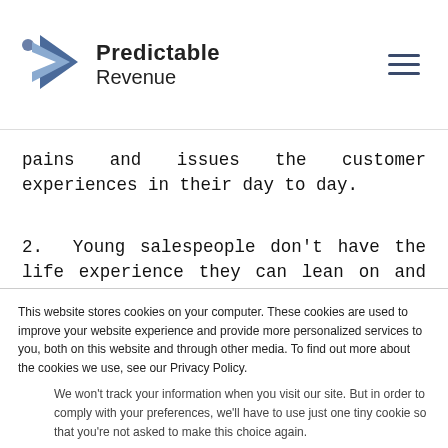Predictable Revenue
pains and issues the customer experiences in their day to day.
2. Young salespeople don't have the life experience they can lean on and say "in my experience" to build credibility.
This website stores cookies on your computer. These cookies are used to improve your website experience and provide more personalized services to you, both on this website and through other media. To find out more about the cookies we use, see our Privacy Policy.
We won't track your information when you visit our site. But in order to comply with your preferences, we'll have to use just one tiny cookie so that you're not asked to make this choice again.